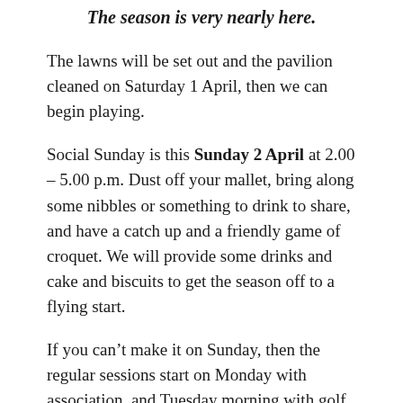The season is very nearly here.
The lawns will be set out and the pavilion cleaned on Saturday 1 April, then we can begin playing.
Social Sunday is this Sunday 2 April at 2.00 – 5.00 p.m. Dust off your mallet, bring along some nibbles or something to drink to share, and have a catch up and a friendly game of croquet. We will provide some drinks and cake and biscuits to get the season off to a flying start.
If you can't make it on Sunday, then the regular sessions start on Monday with association, and Tuesday morning with golf